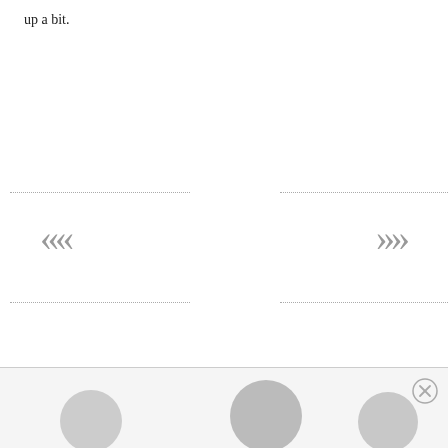up a bit.
[Figure (other): Navigation interface with left double-chevron and right double-chevron arrows, dotted border lines on either side, and a footer area with circular avatar placeholders and a close button.]